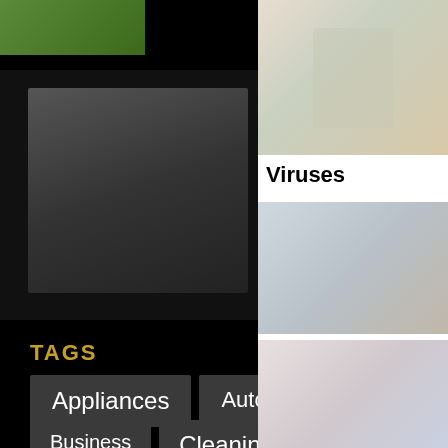[Figure (photo): Hands holding something over green grass - top left partial image]
Top factors for finding the right exterminator in Boise
[Figure (photo): Dark thumbnail image for article about exterminator in Boise]
TAGS
Appliances
Automation
Bath
Business
Cleaning Services
Doors & Windows
Electrician
Furniture
Gardening
Handyman Services
Home Deco
[Figure (photo): Woman cleaning shelves - sidebar image]
Viruses
[Figure (photo): Modern kitchen interior - sidebar image]
[Figure (photo): Hand holding magnifying glass over bed - sidebar image]